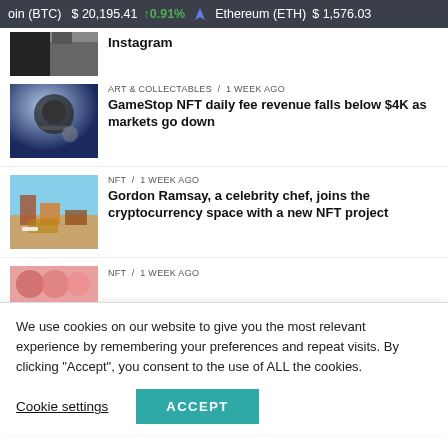oin (BTC)   $20,195.41   ↑0.91%   Ethereum (ETH)   $1,576.03
[Figure (photo): Partial image thumbnail at top, partially visible]
ART & COLLECTABLES / 1 week ago — GameStop NFT daily fee revenue falls below $4K as markets go down
NFT / 1 week ago — Gordon Ramsay, a celebrity chef, joins the cryptocurrency space with a new NFT project
NFT / 1 week ago
We use cookies on our website to give you the most relevant experience by remembering your preferences and repeat visits. By clicking "Accept", you consent to the use of ALL the cookies.
Cookie settings | ACCEPT